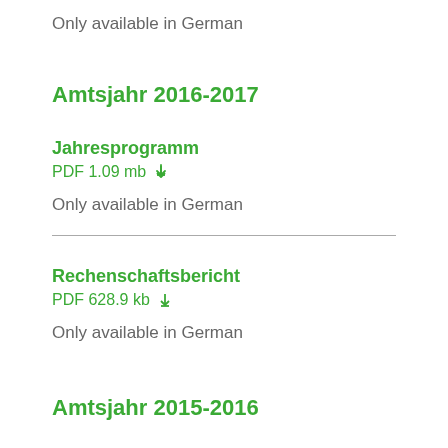Only available in German
Amtsjahr 2016-2017
Jahresprogramm
PDF 1.09 mb ↓
Only available in German
Rechenschaftsbericht
PDF 628.9 kb ↓
Only available in German
Amtsjahr 2015-2016